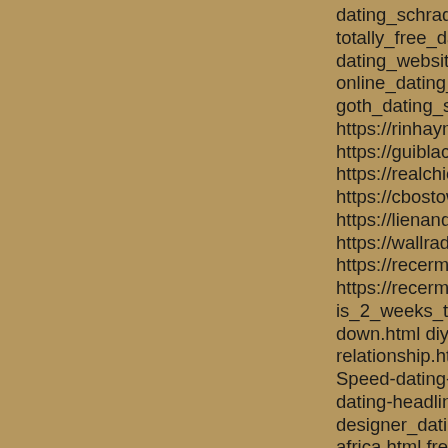dating_schrade_lb7, https:// totally_free_dating_sites, htt dating_website_hull, https:// online_dating_fort_myers_fl goth_dating_sites_uk, https: https://rinhaymipa.skyrock.c https://guiblacciadi.skyrock. https://realchiopanfio.skyroc https://cbostowapa.skyrock. https://lienandfulu.skyrock.c https://wallradalcho.skyrock. https://recermoonsga.syroc https://recermoonsga.syroc is_2_weeks_too_soon_to_st down.html diy_dating_websi relationship.html how_long_ Speed-dating-liverpool-nsw. dating-headlines.html funny_ designer_dating_uk, https:// africa.html free_sugar_mum Junghans-clock-dating.html dating.html doha_online_dat lumpur.html best_dating_site